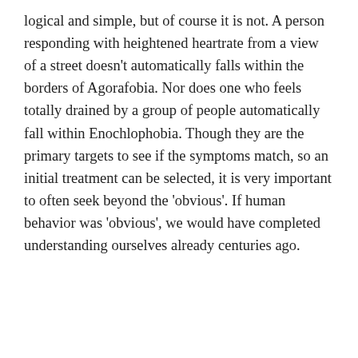logical and simple, but of course it is not. A person responding with heightened heartrate from a view of a street doesn't automatically falls within the borders of Agorafobia. Nor does one who feels totally drained by a group of people automatically fall within Enochlophobia. Though they are the primary targets to see if the symptoms match, so an initial treatment can be selected, it is very important to often seek beyond the 'obvious'. If human behavior was 'obvious', we would have completed understanding ourselves already centuries ago.
Cookie Monster
This website uses cookies to improve your experience. We'll assume you're ok with this, but you can opt-out if you wish.
Cookie settings   ACCEPT